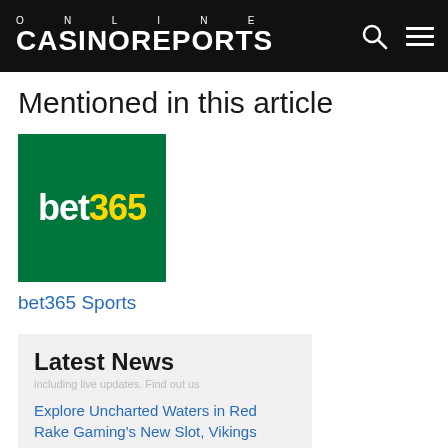ONLINE CASINOREPORTS
Mentioned in this article
[Figure (logo): bet365 Sports logo — green background with white 'bet' and yellow '365' text]
bet365 Sports
Latest News
Explore Uncharted Waters in Red Rake Gaming's New Slot, Vikings Journey
Endorphina's Samarkand's Gold Slot Machine Game Unearthed for Players